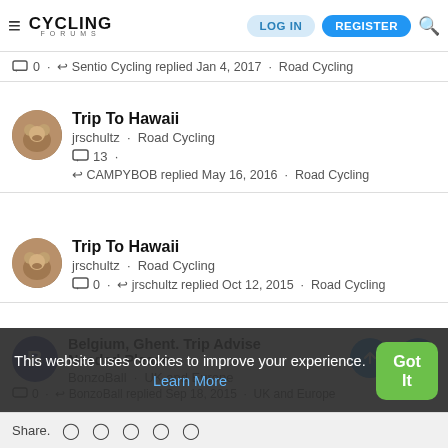Cycling Forums — LOG IN | REGISTER
0 · ↩ Sentio Cycling replied Jan 4, 2017 · Road Cycling
Trip To Hawaii
jrschultz · Road Cycling
💬 13 ·
↩ CAMPYBOB replied May 16, 2016 · Road Cycling
Trip To Hawaii
jrschultz · Road Cycling
💬 0 · ↩ jrschultz replied Oct 12, 2015 · Road Cycling
Belgium, Ghent. Trip Advise Needed Please
BonzoBall · UK and Europe
💬 0 · ↩ BonzoBall replied Sep 18, 2015 · UK and Europe
This website uses cookies to improve your experience. Learn More
Share.